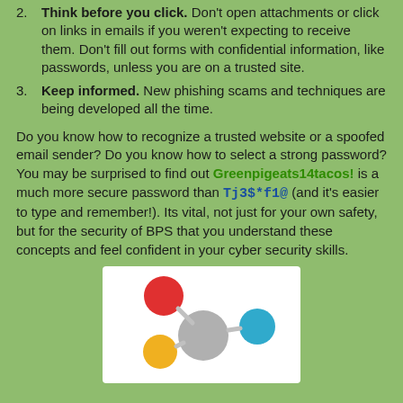2. Think before you click. Don't open attachments or click on links in emails if you weren't expecting to receive them. Don't fill out forms with confidential information, like passwords, unless you are on a trusted site.
3. Keep informed. New phishing scams and techniques are being developed all the time.
Do you know how to recognize a trusted website or a spoofed email sender? Do you know how to select a strong password? You may be surprised to find out Greenpigeats14tacos! is a much more secure password than Tj3$*f1@ (and it's easier to type and remember!). Its vital, not just for your own safety, but for the security of BPS that you understand these concepts and feel confident in your cyber security skills.
[Figure (illustration): A network/molecule-style illustration showing interconnected colored circles (red, blue, yellow, gray) connected by gray lines, representing network connections or security concepts, on a white background.]